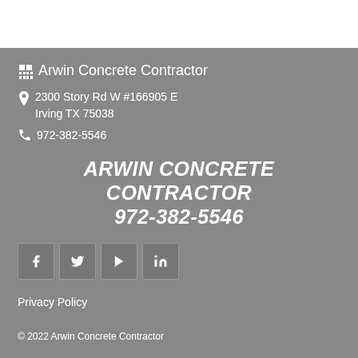Arwin Concrete Contractor
2300 Story Rd W #166905 E
Irving TX 75038
972-382-5546
[Figure (logo): Large bold italic text reading ARWIN CONCRETE CONTRACTOR and 972-382-5546]
[Figure (infographic): Social media icons: Facebook, Twitter, YouTube, LinkedIn]
Privacy Policy
© 2022 Arwin Concrete Contractor